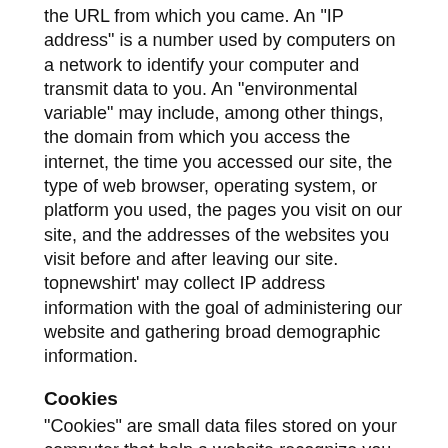the URL from which you came. An "IP address" is a number used by computers on a network to identify your computer and transmit data to you. An "environmental variable" may include, among other things, the domain from which you access the internet, the time you accessed our site, the type of web browser, operating system, or platform you used, the pages you visit on our site, and the addresses of the websites you visit before and after leaving our site. topnewshirt' may collect IP address information with the goal of administering our website and gathering broad demographic information.
Cookies
"Cookies" are small data files stored on your computer that help a website recognize you and remember your preferences. kingshirtstore uses cookies to maximize your shopping experience. You always have the option to delete the cookies from your web browser, or refuse cookies from any website. If you refuse cookies, however, it may inhibit and/or alter the way kingshirtstore operates.
Third-Party Merchants